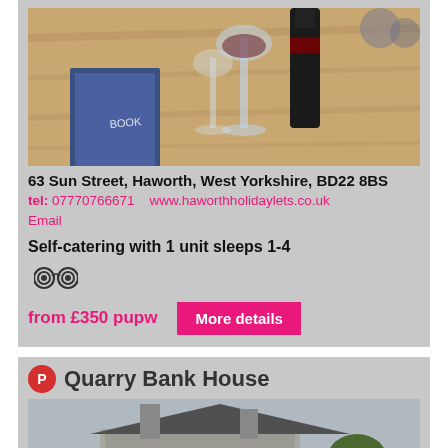[Figure (photo): Photo of a wooden table with a book, wine glass, and wine bottle in a holiday let interior]
63 Sun Street, Haworth, West Yorkshire, BD22 8BS
tel: 07770766671   www.haworthholidaylets.co.uk
Email
Self-catering with 1 unit sleeps 1-4
[Figure (logo): TripAdvisor owl icon]
from £350 pupw
More details
Quarry Bank House
[Figure (photo): Photo of Quarry Bank House exterior, a stone building with chimneys]